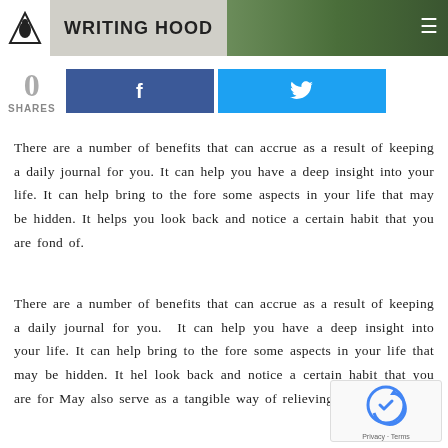WRITING HOOD
[Figure (infographic): Social share buttons: 0 shares, Facebook button, Twitter button]
There are a number of benefits that can accrue as a result of keeping a daily journal for you. It can help you have a deep insight into your life. It can help bring to the fore some aspects in your life that may be hidden. It helps you look back and notice a certain habit that you are fond of.
There are a number of benefits that can accrue as a result of keeping a daily journal for you.  It can help you have a deep insight into your life. It can help bring to the fore some aspects in your life that may be hidden. It hel look back and notice a certain habit that you are for May also serve as a tangible way of relieving yourself...